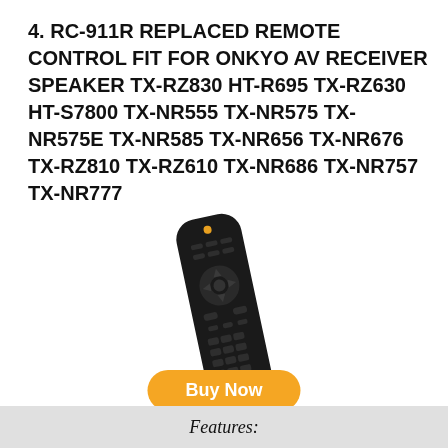4. RC-911R REPLACED REMOTE CONTROL FIT FOR ONKYO AV RECEIVER SPEAKER TX-RZ830 HT-R695 TX-RZ630 HT-S7800 TX-NR555 TX-NR575 TX-NR575E TX-NR585 TX-NR656 TX-NR676 TX-RZ810 TX-RZ610 TX-NR686 TX-NR757 TX-NR777
[Figure (photo): Black Onkyo RC-911R replacement remote control, shown at a slight angle, slim design with multiple buttons]
Buy Now
Features: